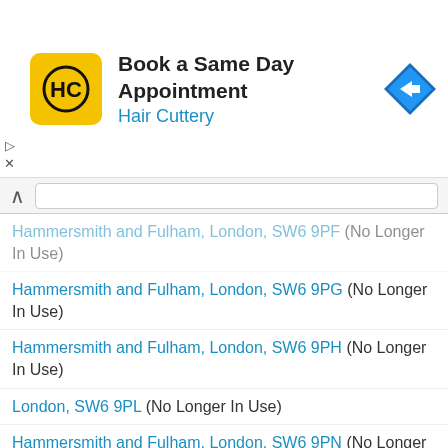[Figure (advertisement): Hair Cuttery ad banner with logo and navigation icon. Text: Book a Same Day Appointment, Hair Cuttery]
Hammersmith and Fulham, London, SW6 9PF (No Longer In Use)
Hammersmith and Fulham, London, SW6 9PG (No Longer In Use)
Hammersmith and Fulham, London, SW6 9PH (No Longer In Use)
London, SW6 9PL (No Longer In Use)
Hammersmith and Fulham, London, SW6 9PN (No Longer In Use)
London, SW6 9PP (No Longer In Use)
SW6 9PR (No Longer In Use)
London, SW6 9PS
London, SW6 9PT
Hammersmith and Fulham, London, SW6 9PU (No Longer In Use)
SW6 9PW (No Longer In Use)
London, SW6 9PY